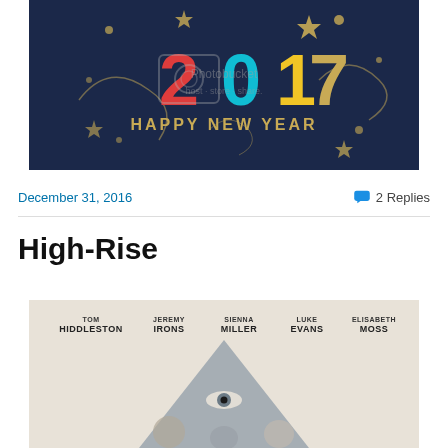[Figure (photo): Happy New Year 2017 image with dark background, colorful text '2017' and 'HAPPY NEW YEAR' with stars and swirls. Photobucket watermark overlay.]
December 31, 2016
2 Replies
High-Rise
[Figure (photo): Movie poster for High-Rise featuring cast names: Tom Hiddleston, Jeremy Irons, Sienna Miller, Luke Evans, Elisabeth Moss. A large triangle with an eye is visible on the poster with figures below.]